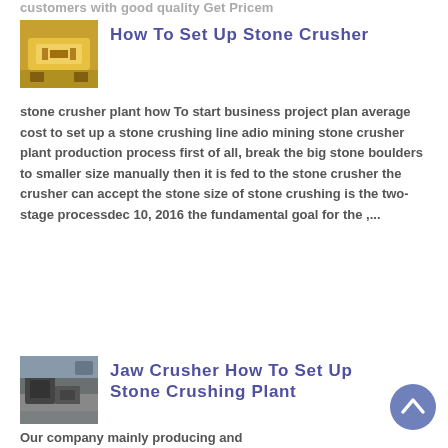customers with good quality Get Pricem
How To Set Up Stone Crusher
[Figure (photo): Yellow stone crusher equipment thumbnail]
stone crusher plant how To start business project plan average cost to set up a stone crushing line adio mining stone crusher plant production process first of all, break the big stone boulders to smaller size manually then it is fed to the stone crusher the crusher can accept the stone size of stone crushing is the two-stage processdec 10, 2016 the fundamental goal for the ,...
[Figure (photo): Jaw crusher / stone crushing plant equipment thumbnail]
Jaw Crusher How To Set Up Stone Crushing Plant
Our company mainly producing and